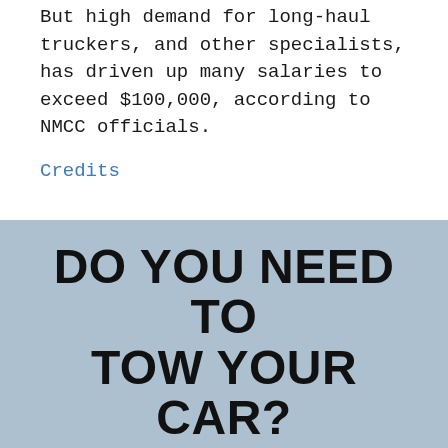But high demand for long-haul truckers, and other specialists, has driven up many salaries to exceed $100,000, according to NMCC officials.
Credits
DO YOU NEED TO TOW YOUR CAR?
We can help you towing your car. By relying on the services of a professional and experienced team you put yourself in good hands. We will get the job done fast 24/7.